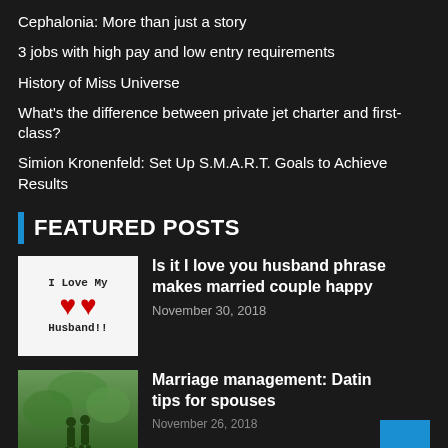Cephalonia: More than just a story
3 jobs with high pay and low entry requirements
History of Miss Universe
What's the difference between private jet charter and first-class?
Simion Kronenfeld: Set Up S.M.A.R.T. Goals to Achieve Results
FEATURED POSTS
[Figure (photo): Thumbnail image with 'I Love My Husband!!' text and red hearts on white background]
Is it I love you husband phrase makes married couple happy
November 30, 2018
[Figure (photo): Thumbnail image of a couple walking in a green outdoor setting]
Marriage management: Dating tips for spouses
November 26, 2018